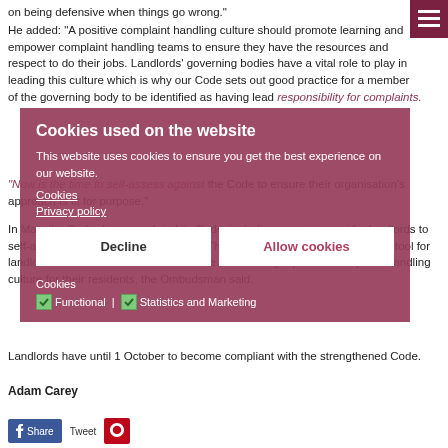The leadership needs to focus on learning and redress, not on being defensive when things go wrong."
He added: "A positive complaint handling culture should promote learning and empower complaint handling teams to ensure they have the resources and respect to do their jobs. Landlords' governing bodies have a vital role to play in leading this culture which is why our Code sets out good practice for a member of the governing body to be identified as having lead responsibility for complaints.
"Now is the time to self-assess against the Code to ensure their organisation's approach is fit for purpose."
In May, the Ombudsman updated its Code, including a requirement for landlords to self-assess against the Code annually. The self-assessment is an important tool for landlords to assess whether their service is delivering a positive complaint handling culture for their residents, the Ombudsman said.
Landlords have until 1 October to become compliant with the strengthened Code.
Adam Carey
[Figure (screenshot): Cookie consent popup overlay with title 'Cookies used on the website', description text, Cookies and Privacy policy links, Decline and Allow cookies buttons, and cookie preference checkboxes for Functional and Statistics and Marketing]
[Figure (infographic): Social share buttons: Share on Facebook, Tweet, and another share button]